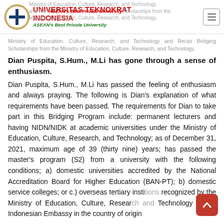UNIVERSITAS TEKNOKRAT INDONESIA — ASEAN's Best Private University
Ministry of Education, Culture, Research, and Technology and Recipients Bridging Scholarships from the Ministry of Education, Culture, Research, and Technology.
Dian Puspita, S.Hum., M.Li has gone through a sense of enthusiasm.
Dian Puspita, S.Hum., M.Li has passed the feeling of enthusiasm and always praying. The following is Dian's explanation of what requirements have been passed. The requirements for Dian to take part in this Bridging Program include: permanent lecturers and having NIDN/NIDK at academic universities under the Ministry of Education, Culture, Research, and Technology; as of December 31, 2021, maximum age of 39 (thirty nine) years; has passed the master's program (S2) from a university with the following conditions; a) domestic universities accredited by the National Accreditation Board for Higher Education (BAN-PT); b) domestic service colleges; or c.) overseas tertiary institutions recognized by the Ministry of Education, Culture, Research and Technology or the Indonesian Embassy in the country of origin